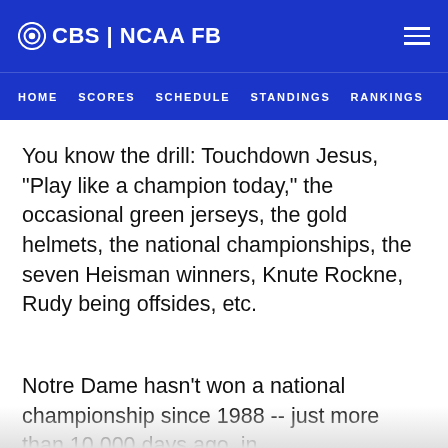CBS | NCAA FB
HOME   SCORES   SCHEDULE   STANDINGS   RANKINGS   TEA…
You know the drill: Touchdown Jesus, "Play like a champion today," the occasional green jerseys, the gold helmets, the national championships, the seven Heisman winners, Knute Rockne, Rudy being offsides, etc.
Notre Dame hasn't won a national championship since 1988 -- just more than 10,000 days ago, in